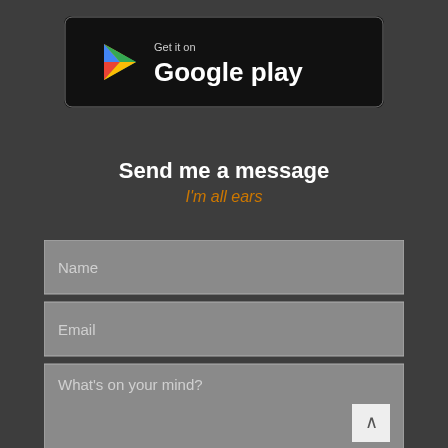[Figure (screenshot): Google Play store download button with colorful triangle logo and text 'Get it on Google play' on dark background]
Send me a message
I'm all ears
[Figure (screenshot): Web form with three input fields: Name (text input), Email (text input), and What's on your mind? (textarea). Dark grey background with grey input fields. A scroll-up button is visible in the bottom right corner.]